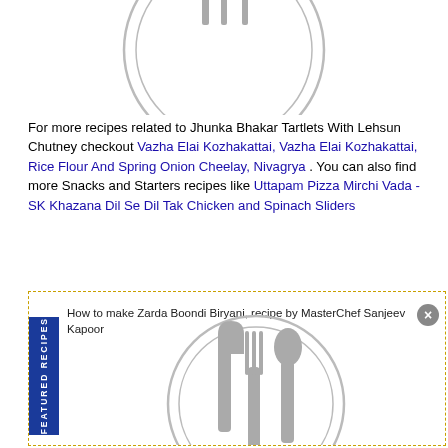[Figure (illustration): Partial view of a plate with cutlery icon (knife, fork, spoon silhouettes) in grey, top portion cropped]
For more recipes related to Jhunka Bhakar Tartlets With Lehsun Chutney checkout Vazha Elai Kozhakattai, Vazha Elai Kozhakattai, Rice Flour And Spring Onion Cheelay, Nivagrya . You can also find more Snacks and Starters recipes like Uttapam Pizza Mirchi Vada - SK Khazana Dil Se Dil Tak Chicken and Spinach Sliders
[Figure (illustration): Featured Recipes box with dashed yellow border. Contains a blue vertical banner labeled FEATURED RECIPES, a title 'How to make Zarda Boondi Biryani, recipe by MasterChef Sanjeev Kapoor', a close button, and a plate with knife, fork, spoon silhouettes in grey.]